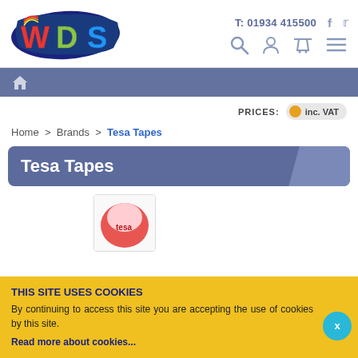[Figure (logo): WDS logo - colorful letters W, D, S on dark blue brush stroke background]
T: 01934 415500
[Figure (illustration): Facebook and Twitter social icons, and search, account, cart, menu navigation icons]
[Figure (illustration): Navigation bar with home icon]
PRICES: inc. VAT
Home > Brands > Tesa Tapes
Tesa Tapes
[Figure (photo): Partial product thumbnail image visible at bottom]
THIS SITE USES COOKIES
By continuing to access this site you are accepting the use of cookies by this site.
Read more about cookies...